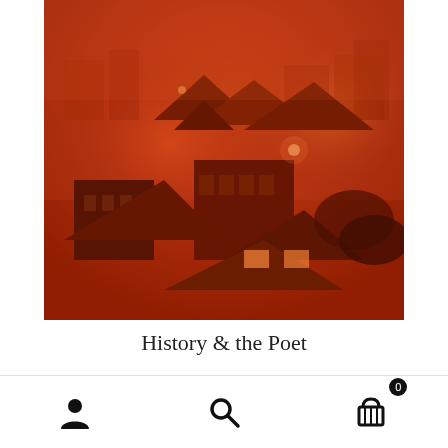[Figure (photo): Book cover with a dramatic red-orange hazy sky over a city rooftop scene, showing buildings and rooftops bathed in deep red-orange light from smoke or dust]
History & the Poet
$29.95
Navigation bar with user account icon, search icon, and shopping cart icon with badge showing 0